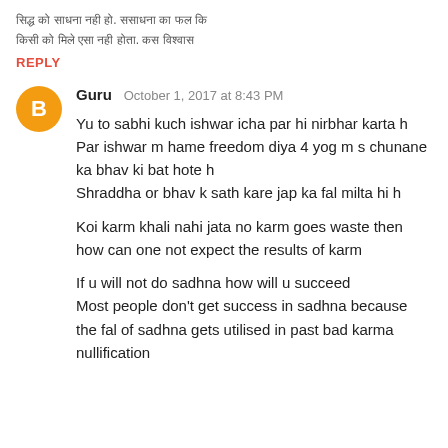[Hindi text - truncated at top of page]
REPLY
Guru  October 1, 2017 at 8:43 PM
Yu to sabhi kuch ishwar icha par hi nirbhar karta h
Par ishwar m hame freedom diya 4 yog m s chunane ka bhav ki bat hote h
Shraddha or bhav k sath kare jap ka fal milta hi h

Koi karm khali nahi jata no karm goes waste then how can one not expect the results of karm

If u will not do sadhna how will u succeed
Most people don't get success in sadhna because the fal of sadhna gets utilised in past bad karma nullification